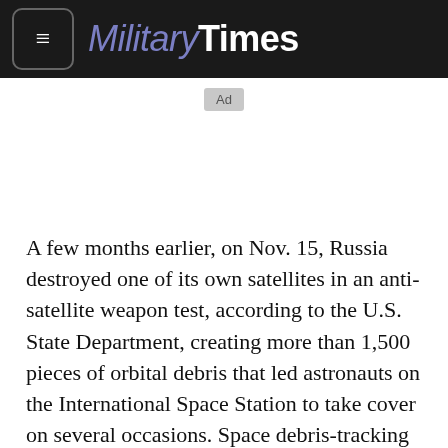Military Times
Ad
A few months earlier, on Nov. 15, Russia destroyed one of its own satellites in an anti-satellite weapon test, according to the U.S. State Department, creating more than 1,500 pieces of orbital debris that led astronauts on the International Space Station to take cover on several occasions. Space debris-tracking company LeoLabs identified the satellite in question as Cosmos